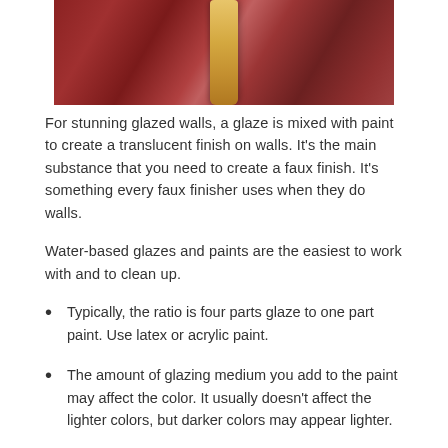[Figure (photo): Photo of reddish-maroon glazed wall sections with a paintbrush or tool visible in the center, showing different shades of the glaze finish]
For stunning glazed walls, a glaze is mixed with paint to create a translucent finish on walls. It's the main substance that you need to create a faux finish. It's something every faux finisher uses when they do walls.
Water-based glazes and paints are the easiest to work with and to clean up.
Typically, the ratio is four parts glaze to one part paint. Use latex or acrylic paint.
The amount of glazing medium you add to the paint may affect the color. It usually doesn't affect the lighter colors, but darker colors may appear lighter.